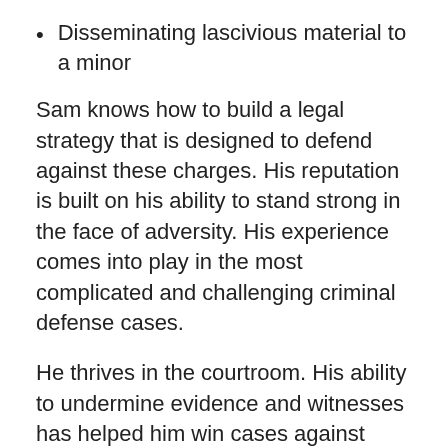Disseminating lascivious material to a minor
Sam knows how to build a legal strategy that is designed to defend against these charges. His reputation is built on his ability to stand strong in the face of adversity. His experience comes into play in the most complicated and challenging criminal defense cases.
He thrives in the courtroom. His ability to undermine evidence and witnesses has helped him win cases against enormous odds. He is ready to put the same level of intense representation to work for you.
Contact Sam Gregory Today